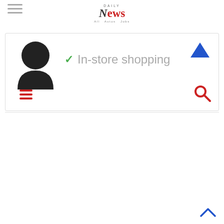[Figure (screenshot): Daily News website header with hamburger menu icon on top left]
DAILY News
[Figure (screenshot): Content box showing a user avatar, green checkmark, 'In-store shopping' text in gray, blue up-arrow, red hamburger menu icon, and red search icon]